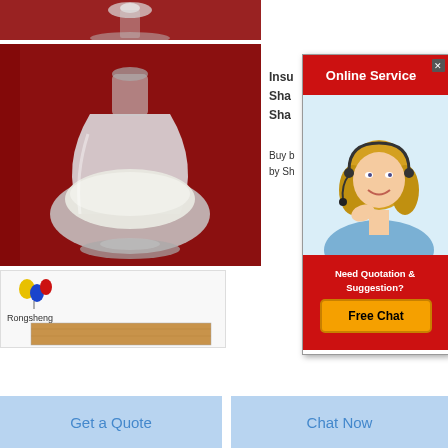[Figure (photo): Top product photo - glass vessel with white powder on red background, partial view]
[Figure (photo): Main product photo - glass flask/bottle shape filled with white powder on red background]
Insu
Sha
Sha
Buy b
by Sh
[Figure (infographic): Online Service popup with female customer service agent wearing headset, red header saying 'Online Service', bottom section with 'Need Quotation & Suggestion?' and 'Free Chat' yellow button]
[Figure (photo): Rongsheng logo with balloon graphic and brand name, with brown/tan firebrick product photo]
Get a Quote
Chat Now